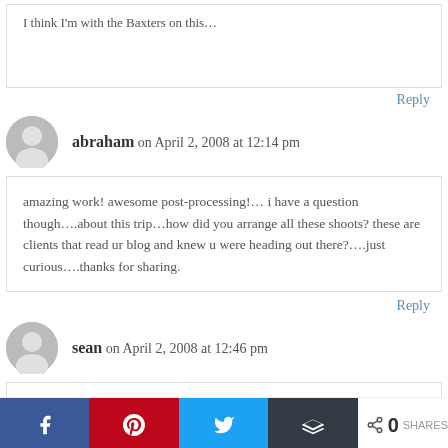I think I'm with the Baxters on this…
Reply
abraham on April 2, 2008 at 12:14 pm
amazing work! awesome post-processing!… i have a question though….about this trip…how did you arrange all these shoots? these are clients that read ur blog and knew u were heading out there?….just curious….thanks for sharing.
Reply
sean on April 2, 2008 at 12:46 pm